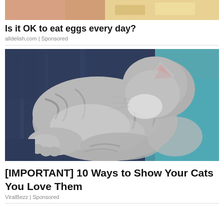[Figure (photo): Partial top image showing a hand holding food, cropped at top]
Is it OK to eat eggs every day?
alldelish.com | Sponsored
[Figure (photo): A gray tabby cat sleeping curled up on a dark blue fabric, head tilted back showing ear and chin]
[IMPORTANT] 10 Ways to Show Your Cats You Love Them
ViralBezz | Sponsored